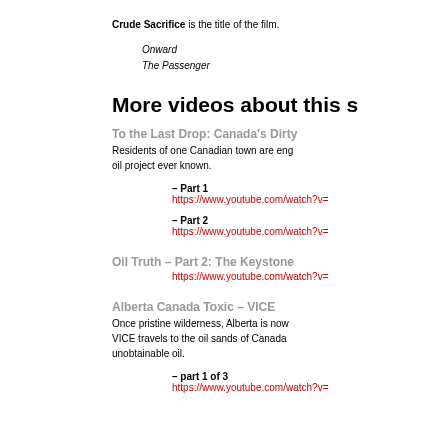Crude Sacrifice is the title of the film.
Onward
The Passenger
More videos about this s
To the Last Drop: Canada's Dirty
Residents of one Canadian town are eng oil project ever known.
– Part 1
https://www.youtube.com/watch?v=
– Part 2
https://www.youtube.com/watch?v=
Oil Truth – Part 2: The Keystone
https://www.youtube.com/watch?v=
Alberta Canada Toxic – VICE
Once pristine wilderness, Alberta is now VICE travels to the oil sands of Canada unobtainable oil.
– part 1 of 3
https://www.youtube.com/watch?v=